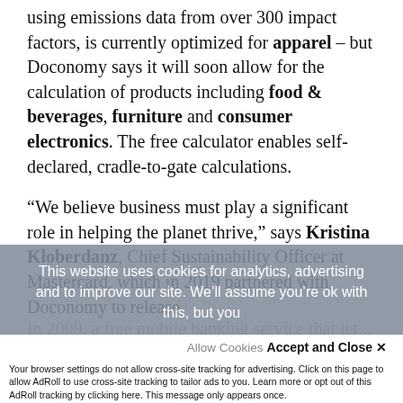using emissions data from over 300 impact factors, is currently optimized for apparel – but Doconomy says it will soon allow for the calculation of products including food & beverages, furniture and consumer electronics. The free calculator enables self-declared, cradle-to-gate calculations.
“We believe business must play a significant role in helping the planet thrive,” says Kristina Kloberdanz, Chief Sustainability Officer at Mastercard, which in 2019 partnered with Doconomy to release...
This website uses cookies for analytics, advertising and to improve our site. We’ll assume you’re ok with this, but you
Accept and Close ×
Your browser settings do not allow cross-site tracking for advertising. Click on this page to allow AdRoll to use cross-site tracking to tailor ads to you. Learn more or opt out of this AdRoll tracking by clicking here. This message only appears once.